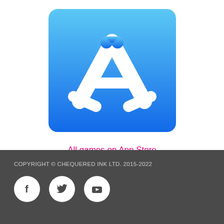[Figure (logo): Apple App Store icon — blue gradient square with white A-shaped rocket/tool logo]
All games on App Store
COPYRIGHT © CHEQUERED INK LTD. 2015-2022
[Figure (logo): Social media icons: Facebook, Twitter, YouTube — white icons on white circles against dark grey footer background]